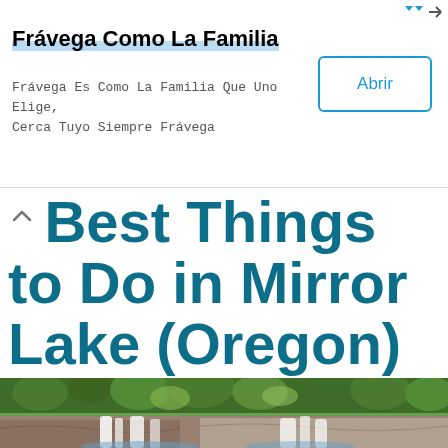Frávega Como La Familia — Frávega Es Como La Familia Que Uno Elige, Cerca Tuyo Siempre Frávega [Ad: Abrir]
Best Things to Do in Mirror Lake (Oregon)
[Figure (photo): Waterfall cascading over rocky cliffs surrounded by green pine forest at Mirror Lake, Oregon]